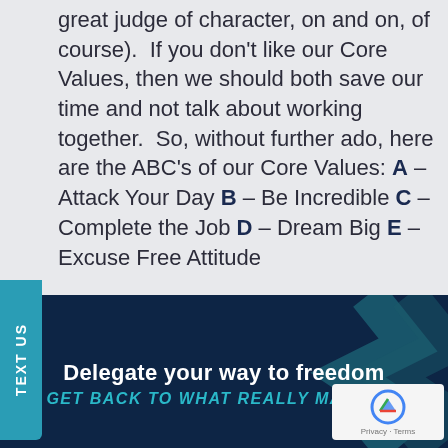great judge of character, on and on, of course).  If you don't like our Core Values, then we should both save our time and not talk about working together.  So, without further ado, here are the ABC's of our Core Values: A – Attack Your Day B – Be Incredible C – Complete the Job D – Dream Big E – Excuse Free Attitude
[Figure (other): Dark navy blue banner section with teal zigzag lightning bolt graphic on the right side. Contains bold white text 'Delegate your way to freedom' and teal italic uppercase text 'GET BACK TO WHAT REALLY MATTERS'. A reCAPTCHA badge is visible in the bottom right corner.]